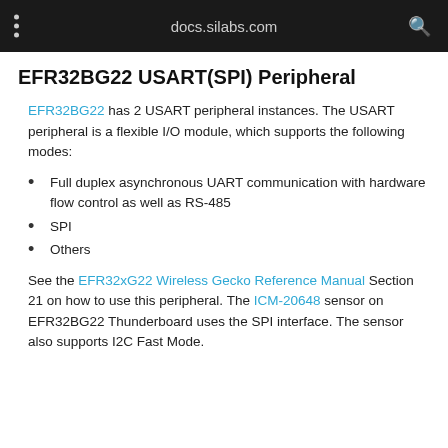docs.silabs.com
EFR32BG22 USART(SPI) Peripheral
EFR32BG22 has 2 USART peripheral instances. The USART peripheral is a flexible I/O module, which supports the following modes:
Full duplex asynchronous UART communication with hardware flow control as well as RS-485
SPI
Others
See the EFR32xG22 Wireless Gecko Reference Manual Section 21 on how to use this peripheral. The ICM-20648 sensor on EFR32BG22 Thunderboard uses the SPI interface. The sensor also supports I2C Fast Mode.